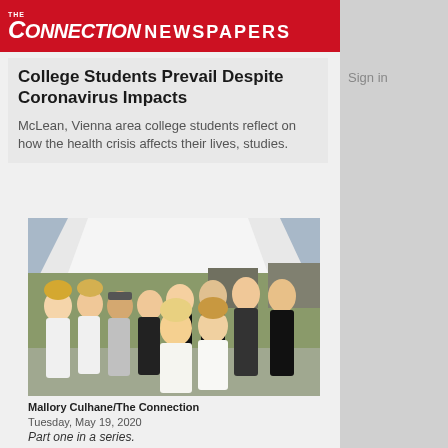THE CONNECTION NEWSPAPERS
College Students Prevail Despite Coronavirus Impacts
McLean, Vienna area college students reflect on how the health crisis affects their lives, studies.
[Figure (photo): Group photo of college students standing together outdoors under a tent]
Mallory Culhane/The Connection
Tuesday, May 19, 2020
Part one in a series.